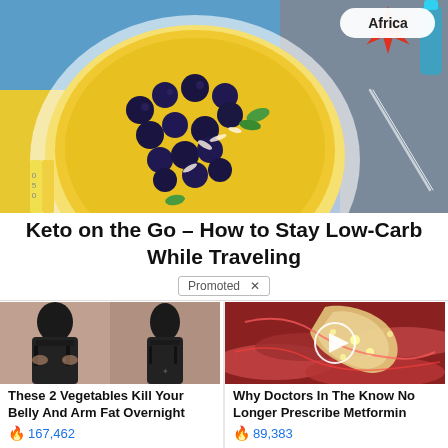[Figure (photo): Top-down food photo showing a bowl of mango smoothie or oatmeal topped with blueberries and mint leaves, on a colorful background with a knife and starfish visible, with an 'Africa' badge in top right corner]
Keto on the Go – How to Stay Low-Carb While Traveling
Promoted ×
[Figure (photo): Before and after photo of a woman's back showing weight loss transformation, wearing black undergarments]
These 2 Vegetables Kill Your Belly And Arm Fat Overnight
🔥 167,462
[Figure (photo): Close-up medical/biological image with a play button overlay, showing reddish biological tissue]
Why Doctors In The Know No Longer Prescribe Metformin
🔥 89,383